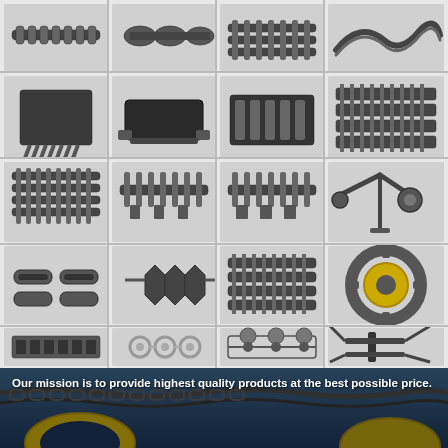[Figure (photo): Grid of 20 industrial chain and sprocket product photos arranged in 5 rows and 4 columns, showing various types of roller chains, conveyor chains, chain links, sprockets, and chain tools on a light gray background. Bottom banner shows chain installation on machinery with mission statement text overlay.]
Our mission is to provide highest quality products at the best possible price.